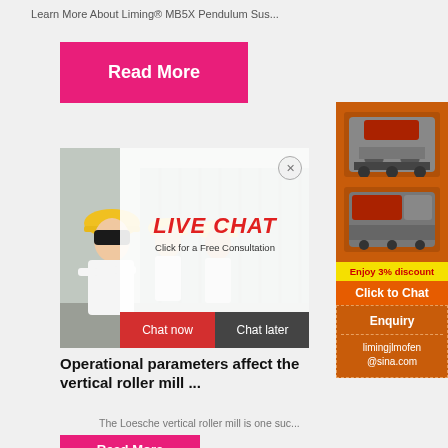Learn More About Liming® MB5X Pendulum Sus...
Read More
[Figure (photo): Workers with yellow hard hats at an industrial site; live chat overlay with 'LIVE CHAT / Click for a Free Consultation' and Chat now / Chat later buttons]
[Figure (photo): Orange sidebar with industrial machinery (crusher/mill equipment) images, 'Enjoy 3% discount', 'Click to Chat', Enquiry section, and limingjlmofen@sina.com contact]
Operational parameters affect the vertical roller mill ...
The Loesche vertical roller mill is one suc...